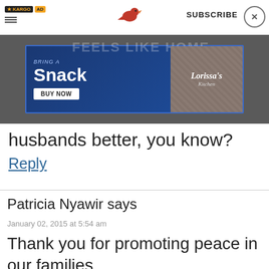KARGO AD | SUBSCRIBE
[Figure (screenshot): Advertisement banner: dark background with 'Bring a Snack' text, BUY NOW button, and Lorissa's Kitchen product image]
husbands better, you know?
Reply
Patricia Nyawir says
January 02, 2015 at 5:54 am
Thank you for promoting peace in our families.